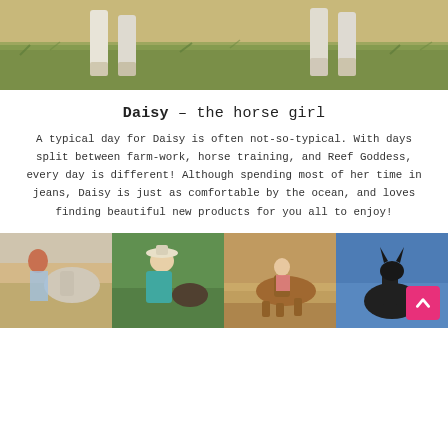[Figure (photo): Top cropped photo showing horse legs and hooves on green grass, outdoor farm scene]
Daisy – the horse girl
A typical day for Daisy is often not-so-typical. With days split between farm-work, horse training, and Reef Goddess, every day is different! Although spending most of her time in jeans, Daisy is just as comfortable by the ocean, and loves finding beautiful new products for you all to enjoy!
[Figure (photo): Four side-by-side photos: 1) Red-haired woman with a white horse in a field, 2) Person in teal jacket crouching with a young calf outdoors, 3) Person on a brown horse doing barrel racing or training in a ring, 4) Dark horse or mule silhouetted against blue sky]